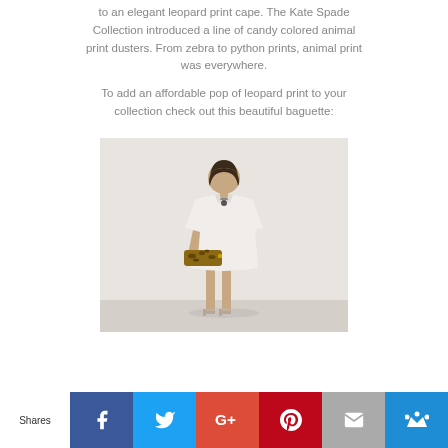to an elegant leopard print cape. The Kate Spade Collection introduced a line of candy colored animal print dusters. From zebra to python prints, animal print was everywhere.
To add an affordable pop of leopard print to your collection check out this beautiful baguette:
[Figure (photo): A model wearing a white short-sleeve shift dress, holding a leopard print clutch baguette bag, with nude strappy heels, against a white studio background.]
Shares | Facebook | Twitter | Google+ | Pinterest | Email | Bloglovin